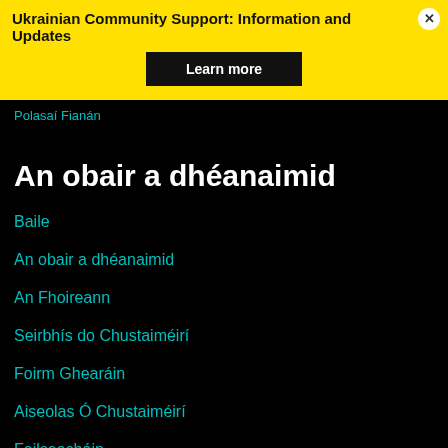Ukrainian Community Support: Information and Updates
Learn more
Polasaí Fianán
An obair a dhéanaimid
Baile
An obair a dhéanaimid
An Fhoireann
Seirbhís do Chustaiméirí
Foirm Ghearáin
Aiseolas Ó Chustaiméirí
Foilseacháin
Naisc Úsáideacha
Fáilte ón bPríomhoifigeach Feidhmiúcháin